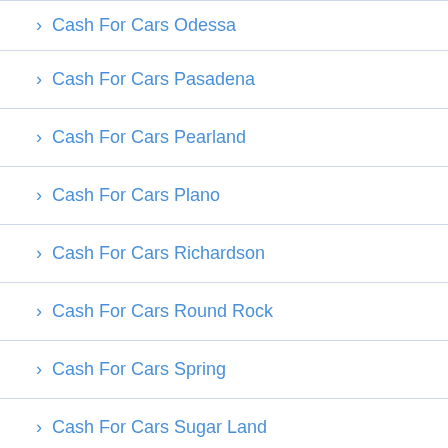Cash For Cars Odessa
Cash For Cars Pasadena
Cash For Cars Pearland
Cash For Cars Plano
Cash For Cars Richardson
Cash For Cars Round Rock
Cash For Cars Spring
Cash For Cars Sugar Land
Cash For Cars The Woodlands